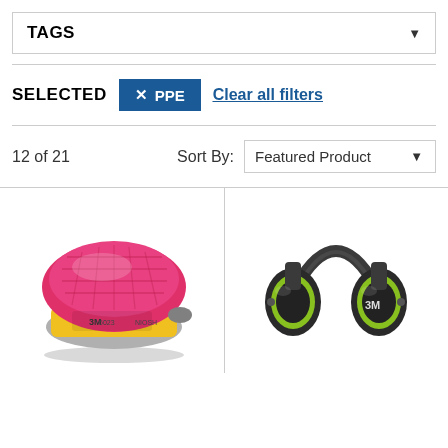TAGS
SELECTED × PPE Clear all filters
12 of 21    Sort By: Featured Product
[Figure (photo): 3M respirator filter cartridge, pink and yellow, with label '3M 6023 NIOSH']
[Figure (photo): 3M over-ear hearing protection earmuffs, black and lime green, with '3M' branding]